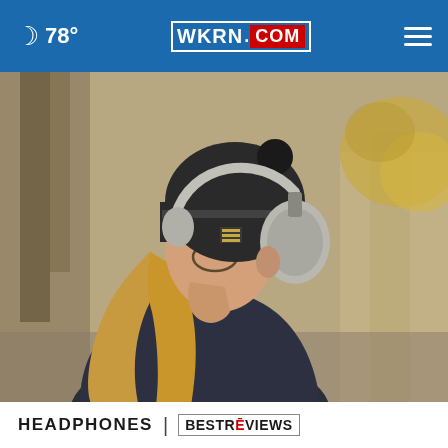🌙 78° | WKRN.COM | ☰
[Figure (photo): Young woman wearing a black knit beanie hat and over-ear headphones, looking to one side in an outdoor urban environment with blurred trees and buildings in the background. She has long blonde hair and glasses and is wearing a dark jacket.]
HEADPHONES | BESTREVIEWS